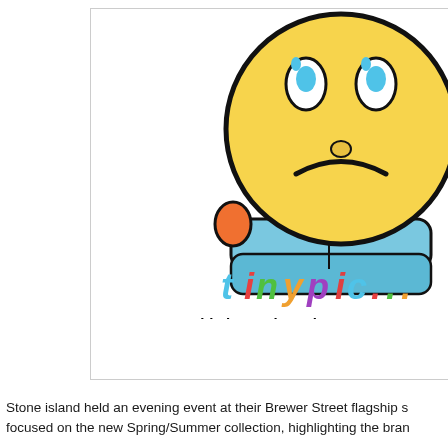[Figure (illustration): Tinypic.com placeholder image showing a yellow cartoon sad face character with blue body, orange hands, and the tinypic.com logo in colorful letters. Text below reads 'This image is no longe[r available]' and 'Visit tinypic.com for mor[e information]']
Stone island held an evening event at their Brewer Street flagship s[tore] focused on the new Spring/Summer collection, highlighting the bran[d...]